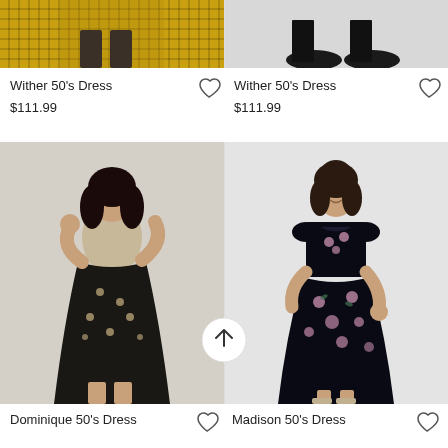[Figure (photo): Top portion of yellow plaid skirt/dress with dark tights, cropped]
[Figure (photo): Top portion of a dark dress with black chunky shoes, cropped]
Wither 50's Dress
$111.99
Wither 50's Dress
$111.99
[Figure (photo): Woman wearing Dominique 50's Dress — black and beige floral/chain print 50s style swing dress, sleeveless]
[Figure (photo): Woman wearing Madison 50's Dress — black dress with pink floral print, cap sleeves, 50s swing style]
Dominique 50's Dress
Madison 50's Dress